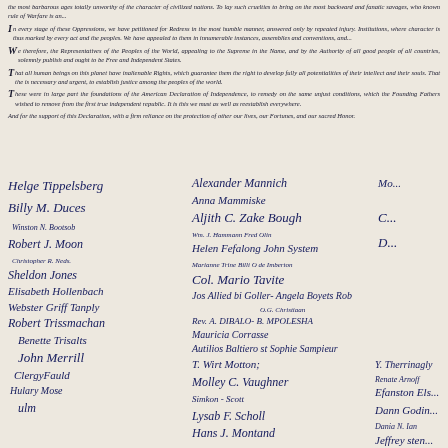the most barbarous ages totally unworthy of the character of civilized nations. To lay such cruelties to bring on the most backward and fanatic savages, who known rule of Warfare is an...
In every stage of these Oppressions, we have petitioned for Redress in the most humble manner, answered only by repeated injury. Institutions, where character is thus marked by every act and the peoples. We have appealed to them in innumerable instances, assemblies and conventions, and...
We therefore, the Representatives of the Peoples of the World, appealing to the Supreme in the Name, and by the Authority of all good people of all countries, solemnly publish and ought to be Free and Independent States.
That all human beings on this planet have inalienable Rights, which guarantee them the right to develop fully all potentialities of their intellect and their souls. That the is necessary and urgent, to establish justice among the peoples of the world.
These were in large part the foundations of the American Declaration of Independence, to remedy on the same unjust conditions, which the Founding Fathers wished to remove from the first true independent republic. It is this we must as well as reestablish everywhere.
And for the support of this Declaration, with a firm reliance on the protection of other our lives, our Fortunes, and our sacred Honor.
[Figure (other): Multiple handwritten signatures in two columns covering the lower half of the page, including names such as Helge Tippelsberg, Robert J. Moon, Winston N. Bootsob, Christopher R. Neds, Sheldon Jones, Elisabeth Hollenbach, Webster Griff Tanply, Robert Trissmachan, Benette Trisalts, John Merrill, and many others in cursive script in dark blue/black ink on aged paper.]